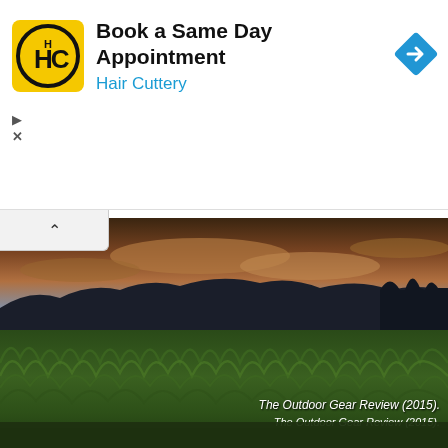[Figure (logo): Hair Cuttery logo: yellow/gold square with HC letters in black, circular border design]
Book a Same Day Appointment
Hair Cuttery
[Figure (photo): Outdoor photo of a green wheat/grain field in the foreground under a dramatic sunset sky with dark silhouette of mountains and trees on the horizon. Caption reads: The Outdoor Gear Review (2015).]